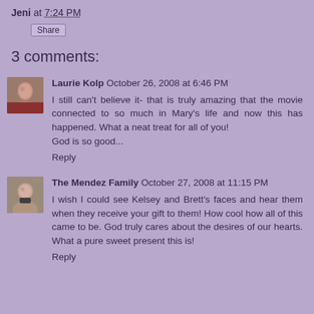Jeni at 7:24 PM
Share
3 comments:
Laurie Kolp  October 26, 2008 at 6:46 PM
I still can't believe it- that is truly amazing that the movie connected to so much in Mary's life and now this has happened. What a neat treat for all of you!
God is so good...
Reply
The Mendez Family  October 27, 2008 at 11:15 PM
I wish I could see Kelsey and Brett's faces and hear them when they receive your gift to them! How cool how all of this came to be. God truly cares about the desires of our hearts. What a pure sweet present this is!
Reply